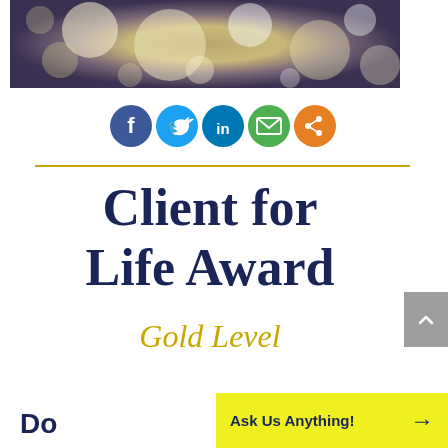[Figure (photo): Bokeh/blurred lights hero image at top of page]
[Figure (infographic): Row of social media sharing icons: Facebook (blue), Twitter (light blue), LinkedIn (teal/blue), Email (green), Share (orange)]
Client for Life Award
Gold Level
Ask Us Anything!
Do